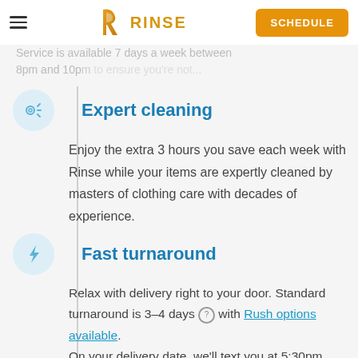RINSE — SCHEDULE
Service is available 7 days a week between 8pm and 10pm to ensure you're not...
Expert cleaning
Enjoy the extra 3 hours you save each week with Rinse while your items are expertly cleaned by masters of clothing care with decades of experience.
Fast turnaround
Relax with delivery right to your door. Standard turnaround is 3-4 days ⓘ with Rush options available. On your delivery date, we'll text you at 5:30pm with your Valet's ETA.